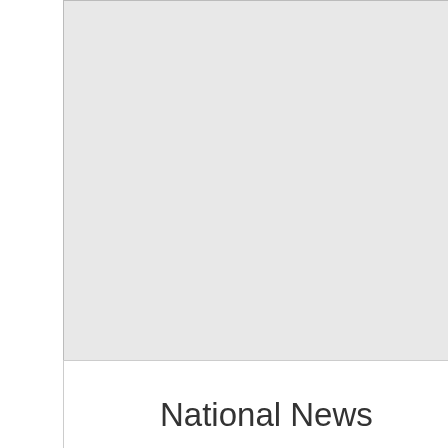Workers Issues, Politics and Government
Feature
Journa
Magaz
Newsp
Writing
Writing
Proofre
Public S
Resear
Scienc
Genea
Econom
Textbo
National News